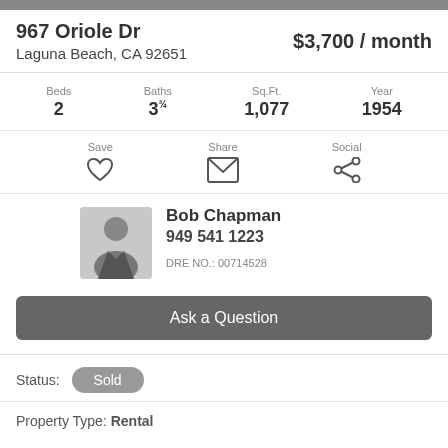967 Oriole Dr
Laguna Beach, CA 92651
$3,700 / month
Beds 2  Baths 3¾  Sq.Ft. 1,077  Year 1954
Save  Share  Social
Bob Chapman
949 541 1223
DRE NO.: 00714528
Ask a Question
Status: Sold
Property Type: Rental